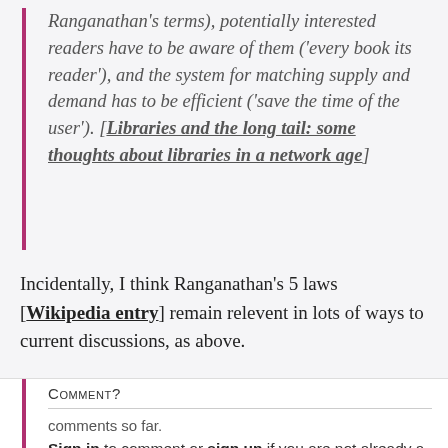Ranganathan's terms), potentially interested readers have to be aware of them ('every book its reader'), and the system for matching supply and demand has to be efficient ('save the time of the user'). [Libraries and the long tail: some thoughts about libraries in a network age]
Incidentally, I think Ranganathan's 5 laws [Wikipedia entry] remain relevent in lots of ways to current discussions, as above.
Comment?
comments so far. Sign in to comment or sign up if you are not already a member.